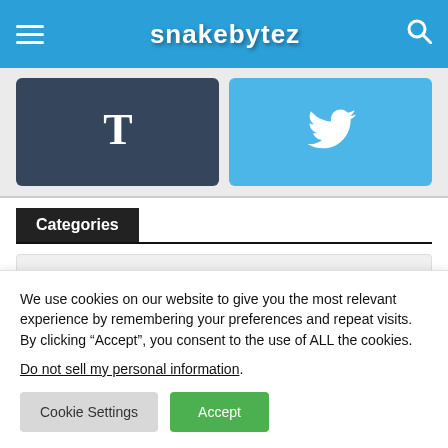snakebytez
[Figure (screenshot): Social media share buttons: Tumblr (dark blue with T icon) and Twitter (light blue with bird icon)]
Categories
Select Category
We use cookies on our website to give you the most relevant experience by remembering your preferences and repeat visits. By clicking “Accept”, you consent to the use of ALL the cookies.
Do not sell my personal information.
Cookie Settings
Accept